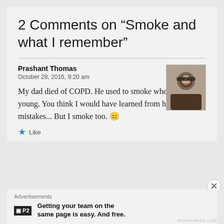2 Comments on “Smoke and what I remember”
Prashant Thomas
October 28, 2016, 9:20 am
My dad died of COPD. He used to smoke when he was young. You think I would have learned from his mistakes... But I smoke too. 😐
★ Like
Advertisements
P2  Getting your team on the same page is easy. And free.